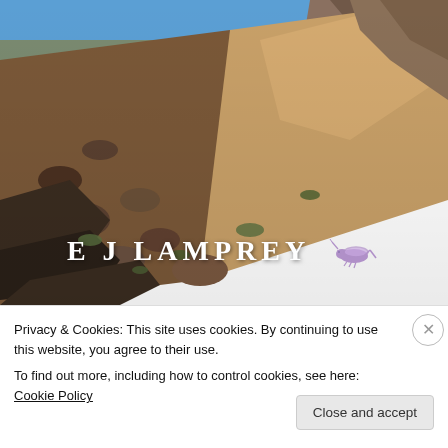[Figure (photo): Photograph of a rocky mountain terrain with a dirt road/path cutting through rocky slopes with sparse green vegetation, blue sky visible at the top. The image serves as a header banner for the E J Lamprey website.]
E J LAMPREY
Privacy & Cookies: This site uses cookies. By continuing to use this website, you agree to their use.
To find out more, including how to control cookies, see here: Cookie Policy
Close and accept